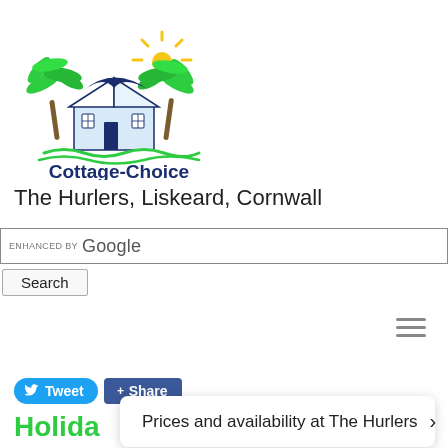[Figure (logo): Cottage-Choice.co.uk logo with palm trees, house and stylized bird]
The Hurlers, Liskeard, Cornwall
ENHANCED BY Google Search
Tweet Share
Holiday Cornwall - Prices and availability at The Hurlers